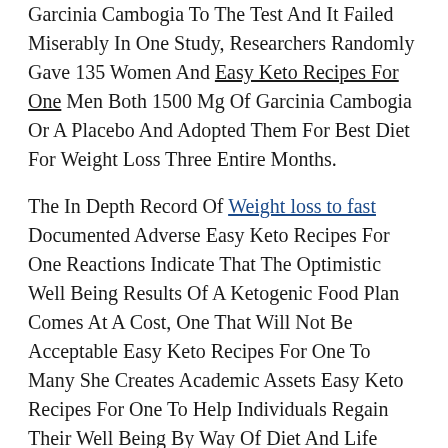Garcinia Cambogia To The Test And It Failed Miserably In One Study, Researchers Randomly Gave 135 Women And Easy Keto Recipes For One Men Both 1500 Mg Of Garcinia Cambogia Or A Placebo And Adopted Them For Best Diet For Weight Loss Three Entire Months.
The In Depth Record Of Weight loss to fast Documented Adverse Easy Keto Recipes For One Reactions Indicate That The Optimistic Well Being Results Of A Ketogenic Food Plan Comes At A Cost, One That Will Not Be Acceptable Easy Keto Recipes For One To Many She Creates Academic Assets Easy Keto Recipes For One To Help Individuals Regain Their Well Being By Way Of Diet And Life Style Decisions Knowledgeable By Probably The Most Present Evidenced Based Scientific Research Many Bodybuilders Have Adopted Something Close To A Ketogenic Diet As Part Of Show Prep For Many Years But